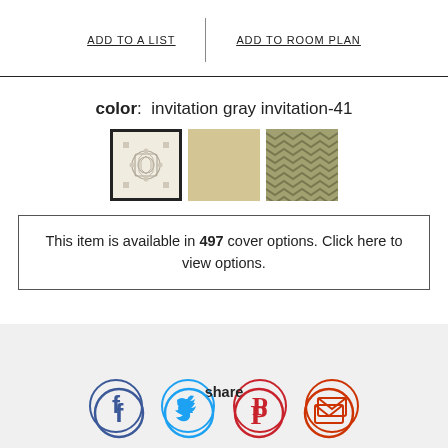ADD TO A LIST
ADD TO ROOM PLAN
color: invitation gray invitation-41
[Figure (illustration): Three fabric/wallpaper swatches: first selected (black border) showing a geometric floral pattern in beige/gray, second showing a plain sand/tan texture, third showing a chevron/zigzag pattern in olive/green.]
This item is available in 497 cover options. Click here to view options.
share
[Figure (illustration): Four social media icons in circles: Facebook (dark blue), Twitter (light blue), Pinterest (red), Email/envelope (red-orange).]